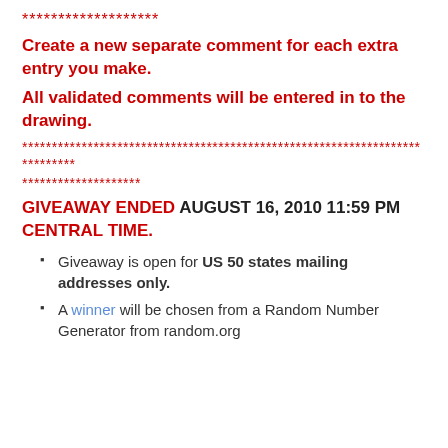*******************
Create a new separate comment for each extra entry you make.
All validated comments will be entered in to the drawing.
****************************************************************************
********************
GIVEAWAY ENDED AUGUST 16, 2010 11:59 PM CENTRAL TIME.
Giveaway is open for US 50 states mailing addresses only.
A winner will be chosen from a Random Number Generator from random.org